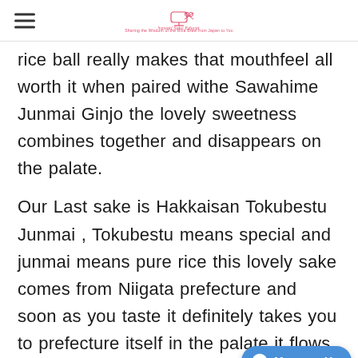Indrawati Sake Education
rice ball really makes that mouthfeel all worth it when paired withe Sawahime Junmai Ginjo the lovely sweetness combines together and disappears on the palate.
Our Last sake is Hakkaisan Tokubestu Junmai , Tokubestu means special and junmai means pure rice this lovely sake comes from Niigata prefecture and soon as you taste it definitely takes you to prefecture itself in the palate it flows like ...